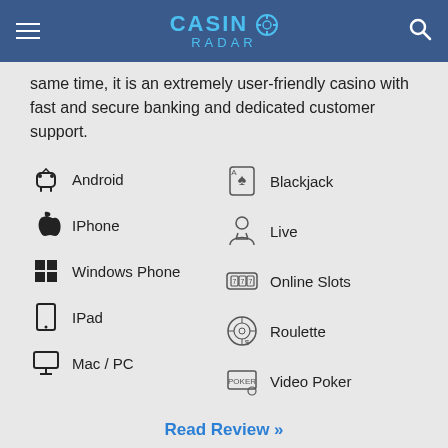Casino Radar
same time, it is an extremely user-friendly casino with fast and secure banking and dedicated customer support.
Android
Blackjack
IPhone
Live
Windows Phone
Online Slots
IPad
Roulette
Mac / PC
Video Poker
Read Review »
[Figure (logo): William Hill logo at bottom of page]